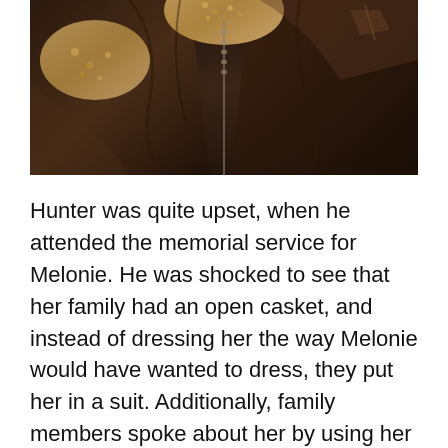[Figure (photo): Close-up photo of a dark brown leather jacket with sherpa/fleece lining visible at the collar and zipper area, dark sepia/brown tones]
Hunter was quite upset, when he attended the memorial service for Melonie. He was shocked to see that her family had an open casket, and instead of dressing her the way Melonie would have wanted to dress, they put her in a suit. Additionally, family members spoke about her by using her birth name and using male pronouns, even though Melonie had legally changed her name. All of the paper materials handed out at the memorial, listed her as her former name, although a picture of Melonie, presenting as a male notes